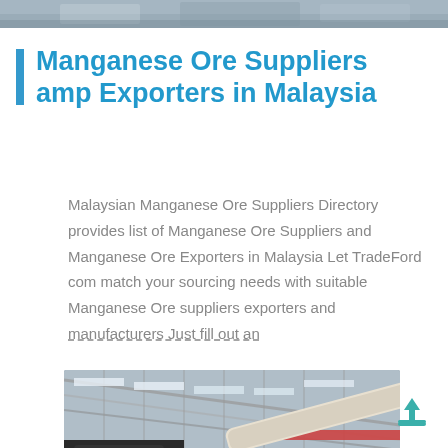[Figure (photo): Top partial photo strip showing industrial/machinery background]
Manganese Ore Suppliers amp Exporters in Malaysia
Malaysian Manganese Ore Suppliers Directory provides list of Manganese Ore Suppliers and Manganese Ore Exporters in Malaysia Let TradeFord com match your sourcing needs with suitable Manganese Ore suppliers exporters and manufacturers Just fill out an
[Figure (photo): Industrial factory interior showing ore processing equipment, conveyor belts, and warehouse facility with steel roof structure]